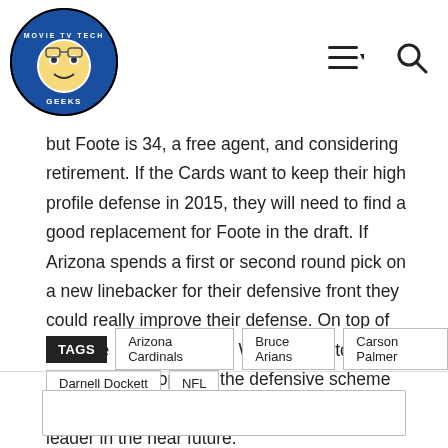Movie TV Tech Geeks logo and navigation
but Foote is 34, a free agent, and considering retirement. If the Cards want to keep their high profile defense in 2015, they will need to find a good replacement for Foote in the draft. If Arizona spends a first or second round pick on a new linebacker for their defensive front they could really improve their defense. On top of that, the rookie will have Washington to help him learn the ropes of the defensive scheme and possibly become the Cardinals defensive leader in the near future.
TAGS  Arizona Cardinals  Bruce Arians  Carson Palmer  Darnell Dockett  NFL